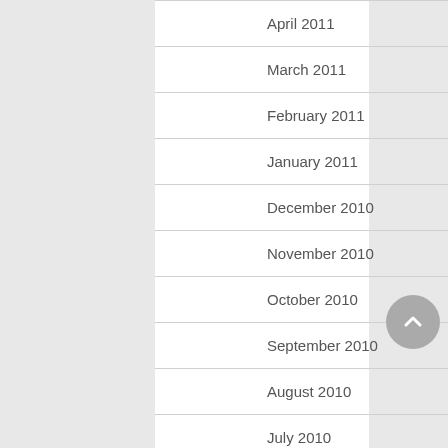April 2011
March 2011
February 2011
January 2011
December 2010
November 2010
October 2010
September 2010
August 2010
July 2010
June 2010
May 2010
April 2010